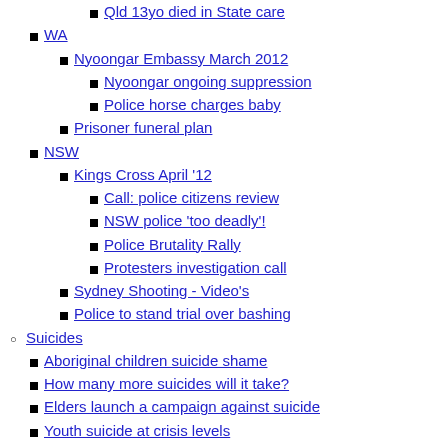Qld 13yo died in State care
WA
Nyoongar Embassy March 2012
Nyoongar ongoing suppression
Police horse charges baby
Prisoner funeral plan
NSW
Kings Cross April '12
Call: police citizens review
NSW police 'too deadly'!
Police Brutality Rally
Protesters investigation call
Sydney Shooting - Video's
Police to stand trial over bashing
Suicides
Aboriginal children suicide shame
How many more suicides will it take?
Elders launch a campaign against suicide
Youth suicide at crisis levels
Suicide epidemic in Kimberley
WA mourns lost children
Macklin's genocide denial
Suicides grips community
'Close the Gap' policy failed
Imprisonment & Deaths